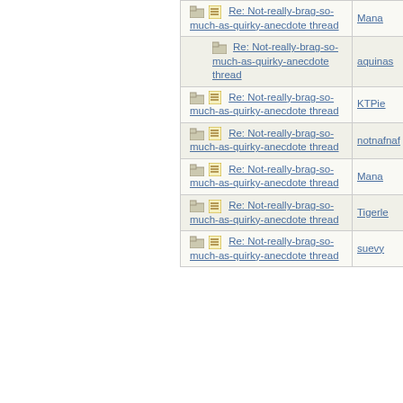| Thread | Author |
| --- | --- |
| Re: Not-really-brag-so-much-as-quirky-anecdote thread | Mana |
| Re: Not-really-brag-so-much-as-quirky-anecdote thread | aquinas |
| Re: Not-really-brag-so-much-as-quirky-anecdote thread | KTPie |
| Re: Not-really-brag-so-much-as-quirky-anecdote thread | notnafnaf |
| Re: Not-really-brag-so-much-as-quirky-anecdote thread | Mana |
| Re: Not-really-brag-so-much-as-quirky-anecdote thread | Tigerle |
| Re: Not-really-brag-so-much-as-quirky-anecdote thread | suevy |